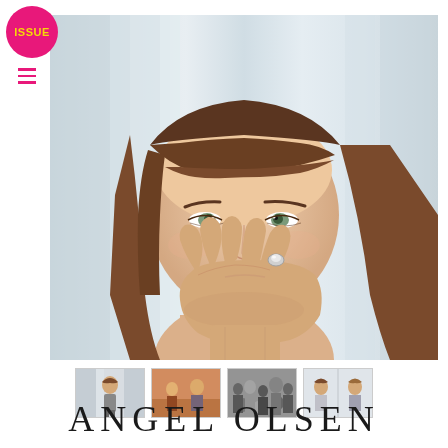[Figure (photo): Magazine page with ISSUE badge (pink circle with yellow text), hamburger menu icon in pink, and a large portrait photo of Angel Olsen — a young woman with brown bangs covering her mouth with her hand on which she wears a ring, soft gray/light blue blurred background]
[Figure (photo): Thumbnail strip of 4 smaller photos: 1) woman standing alone, 2) indoor scene with people, 3) crowd/event scene in black and white, 4) two figures side by side]
ANGEL OLSEN